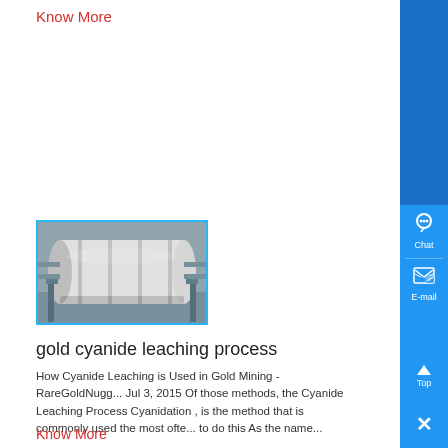Know More
[Figure (photo): Industrial cylindrical machine (autoclave/leaching drum) in a factory setting, with pipes and metal framework surrounding it.]
gold cyanide leaching process
How Cyanide Leaching is Used in Gold Mining - RareGoldNugg... Jul 3, 2015 Of those methods, the Cyanide Leaching Process Cyanidation , is the method that is commonly used the most ofte... to do this As the name...
Know More